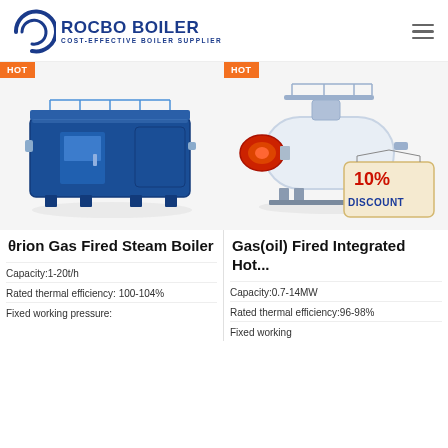ROCBO BOILER - COST-EFFECTIVE BOILER SUPPLIER
[Figure (photo): Industrial gas fired steam boiler, large blue horizontal unit with HOT badge]
θrion Gas Fired Steam Boiler
Capacity:1-20t/h
Rated thermal efficiency: 100-104%
Fixed working pressure:
[Figure (photo): Gas(oil) fired integrated hot water boiler, white horizontal tank with red burner and 10% DISCOUNT badge]
Gas(oil) Fired Integrated Hot...
Capacity:0.7-14MW
Rated thermal efficiency:96-98%
Fixed working